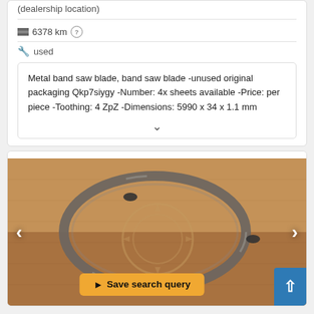(dealership location)
6378 km
used
Metal band saw blade, band saw blade -unused original packaging Qkp7siygy -Number: 4x sheets available -Price: per piece -Toothing: 4 ZpZ -Dimensions: 5990 x 34 x 1.1 mm
[Figure (photo): Photo of a metal band saw blade coiled and resting on a cardboard box, with a watermark logo visible on the box]
Save search query